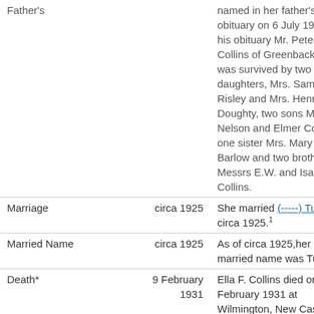| Event | Date | Details |
| --- | --- | --- |
| Father's |  | named in her father's obituary on 6 July 1920. In his obituary Mr. Peter Collins of Greenbackville was survived by two daughters, Mrs. Samuel Risley and Mrs. Henry Doughty, two sons Messrs Nelson and Elmer Collins, one sister Mrs. Mary A. Barlow and two brothers Messrs E.W. and Isaac Collins. |
| Marriage | circa 1925 | She married (-----) Tucker circa 1925.1 |
| Married Name | circa 1925 | As of circa 1925,her married name was Tucker. |
| Death* | 9 February 1931 | Ella F. Collins died on 9 February 1931 at Wilmington, New Castle Co, DE, at age |